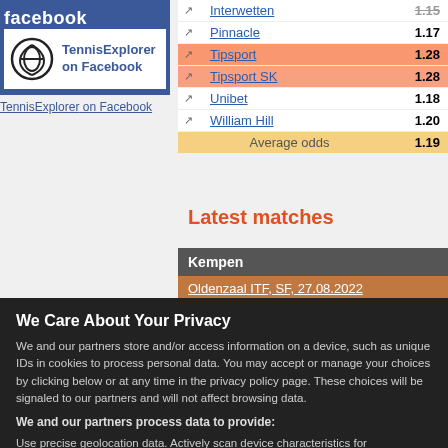[Figure (other): Facebook social widget showing TennisExplorer on Facebook logo and link]
| Bookmaker | Odds |
| --- | --- |
| Interwetten | 1.15 |
| Pinnacle | 1.17 |
| Tipsport | 1.28 |
| Tipsport SK | 1.28 |
| Unibet | 1.18 |
| William Hill | 1.20 |
| Average odds | 1.19 |
Latest matches
| Player | Match | Score |
| --- | --- | --- |
| Kempen | Oldenzaal ITF, SF, 27.08.2022 |  |
|  | Romero Gormaz - Kempen | 1:0 |
|  | Oldenzaal ITF, QF, 26.08.2022 |  |
We Care About Your Privacy
We and our partners store and/or access information on a device, such as unique IDs in cookies to process personal data. You may accept or manage your choices by clicking below or at any time in the privacy policy page. These choices will be signaled to our partners and will not affect browsing data.
We and our partners process data to provide:
Use precise geolocation data. Actively scan device characteristics for identification. Store and/or access information on a device. Personalised ads and content, ad and content measurement, audience insights and product development.